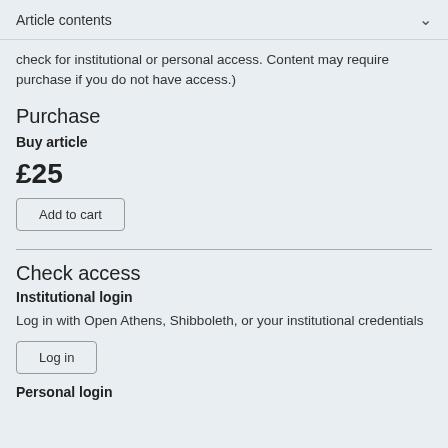Article contents
check for institutional or personal access. Content may require purchase if you do not have access.)
Purchase
Buy article
£25
Add to cart
Check access
Institutional login
Log in with Open Athens, Shibboleth, or your institutional credentials
Log in
Personal login